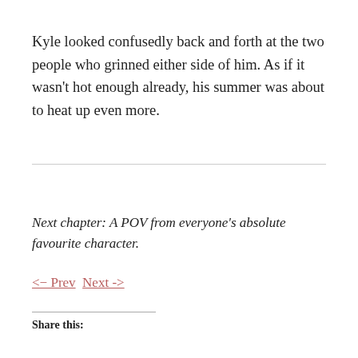Kyle looked confusedly back and forth at the two people who grinned either side of him. As if it wasn't hot enough already, his summer was about to heat up even more.
Next chapter: A POV from everyone's absolute favourite character.
<- Prev  Next ->
Share this: